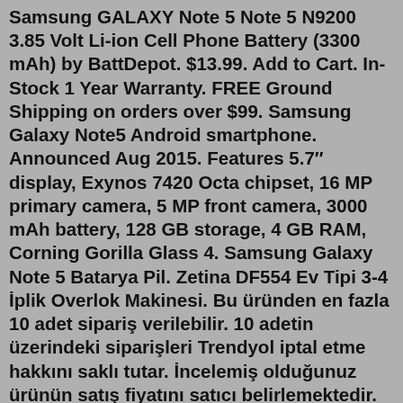Samsung GALAXY Note 5 Note 5 N9200 3.85 Volt Li-ion Cell Phone Battery (3300 mAh) by BattDepot. $13.99. Add to Cart. In-Stock 1 Year Warranty. FREE Ground Shipping on orders over $99. Samsung Galaxy Note5 Android smartphone. Announced Aug 2015. Features 5.7″ display, Exynos 7420 Octa chipset, 16 MP primary camera, 5 MP front camera, 3000 mAh battery, 128 GB storage, 4 GB RAM, Corning Gorilla Glass 4. Samsung Galaxy Note 5 Batarya Pil. Zetina DF554 Ev Tipi 3-4 İplik Overlok Makinesi. Bu üründen en fazla 10 adet sipariş verilebilir. 10 adetin üzerindeki siparişleri Trendyol iptal etme hakkını saklı tutar. İncelemiş olduğunuz ürünün satış fiyatını satıcı belirlemektedir. Bu ürün indirim kampanyasına dahil değildir. I am so sorry to hear of your Note20 battery swelling, and can understand the concerns. We want to get this over to our specialized team as soon as possible to rectify this for you. You can call in at 1-800-726-7864, give your information, and ask to speak to the specialized team, or private message us by clicking on my username